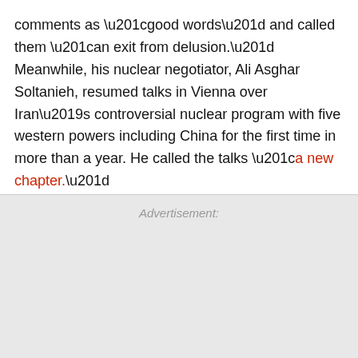comments as “good words” and called them “an exit from delusion.” Meanwhile, his nuclear negotiator, Ali Asghar Soltanieh, resumed talks in Vienna over Iran’s controversial nuclear program with five western powers including China for the first time in more than a year. He called the talks “a new chapter.”
Advertisement: